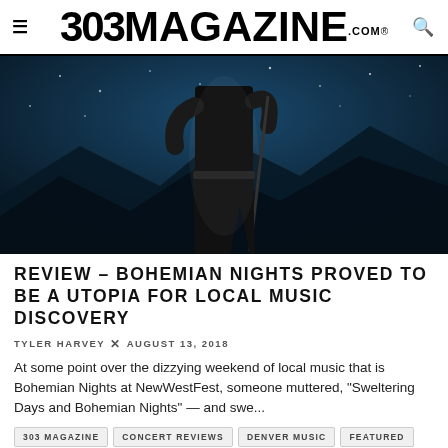303 MAGAZINE .COM ®
[Figure (photo): A performer in a black sleeveless top and dark jeans holding a microphone stand on stage, with a dark blue starry/mountain backdrop behind them.]
REVIEW – BOHEMIAN NIGHTS PROVED TO BE A UTOPIA FOR LOCAL MUSIC DISCOVERY
TYLER HARVEY  ✕  AUGUST 13, 2018
At some point over the dizzying weekend of local music that is Bohemian Nights at NewWestFest, someone muttered, "Sweltering Days and Bohemian Nights" — and swe...
303 MAGAZINE   CONCERT REVIEWS   DENVER MUSIC   FEATURED   MUSIC
3 MIN READ